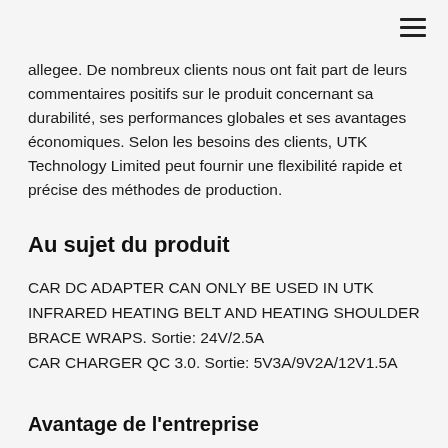allegee. De nombreux clients nous ont fait part de leurs commentaires positifs sur le produit concernant sa durabilité, ses performances globales et ses avantages économiques. Selon les besoins des clients, UTK Technology Limited peut fournir une flexibilité rapide et précise des méthodes de production.
Au sujet du produit
CAR DC ADAPTER CAN ONLY BE USED IN UTK INFRARED HEATING BELT AND HEATING SHOULDER BRACE WRAPS. Sortie: 24V/2.5A
CAR CHARGER QC 3.0. Sortie: 5V3A/9V2A/12V1.5A
Avantage de l'entreprise